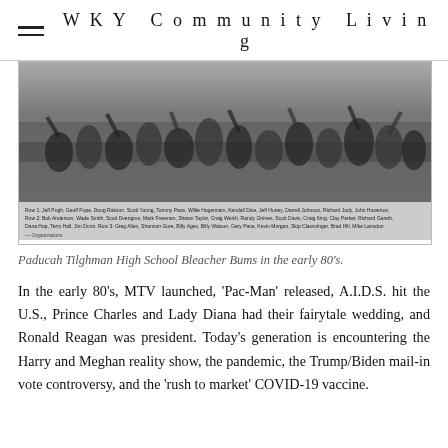WKY Community Living
[Figure (photo): Black and white group photo of Paducah Tilghman High School Bleacher Bums in the early 80s, large group of young people with arms raised in a gymnasium or bleacher setting. Caption lines identify individuals in rows.]
Paducah Tilghman High School Bleacher Bums in the early 80's.
In the early 80's, MTV launched, 'Pac-Man' released, A.I.D.S. hit the U.S., Prince Charles and Lady Diana had their fairytale wedding, and Ronald Reagan was president. Today's generation is encountering the Harry and Meghan reality show, the pandemic, the Trump/Biden mail-in vote controversy, and the 'rush to market' COVID-19 vaccine.